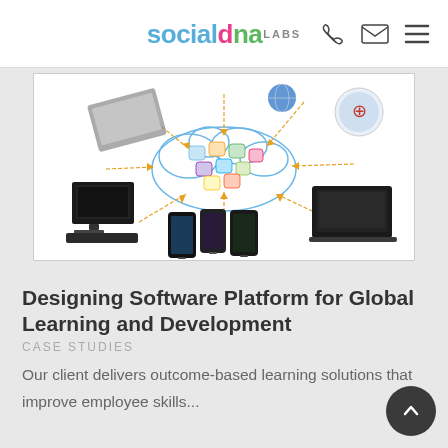socialdna LABS
[Figure (illustration): Cloud computing ecosystem illustration showing various devices (desktop computers, laptops, smartphones) connected to a central cloud filled with app icons, linked by arrows indicating data flow.]
Designing Software Platform for Global Learning and Development
CASE STUDIES
Our client delivers outcome-based learning solutions that improve employee skills...